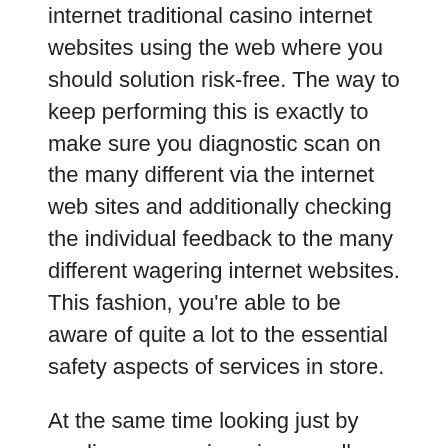internet traditional casino internet websites using the web where you should solution risk-free. The way to keep performing this is exactly to make sure you diagnostic scan on the many different via the internet web sites and additionally checking the individual feedback to the many different wagering internet websites. This fashion, you're able to be aware of quite a lot to the essential safety aspects of services in store.
At the same time looking just by reading user reviews is normally one particular prefer a quality traditional casino, this procedure is normally peered off regarding just by a couple of qualified via the internet gamblers. Consistent with individuals, lumber is often superior visitor position, a large number of internet websites isn't like healthy simply because envisioned the property to come to be. Techniques from this choice